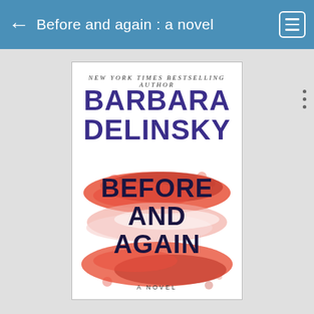Before and again : a novel
[Figure (illustration): Book cover of 'Before and Again' by Barbara Delinsky. White background with large purple bold text for author name 'BARBARA DELINSKY' at top, and title 'BEFORE AND AGAIN' in dark text below, overlaid on abstract red/coral paint smear brushstroke artwork. Subtitle 'A NOVEL' at bottom center. Top of cover reads 'NEW YORK TIMES BESTSELLING AUTHOR' in small italic spaced caps.]